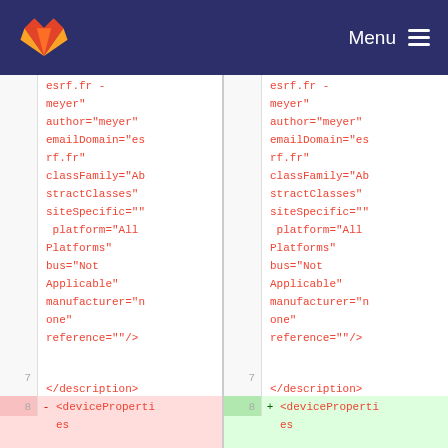GitLab Menu
esrf.fr -
meyer"
author="meyer"
emailDomain="es
rf.fr"
classFamily="Ab
stractClasses"
siteSpecific=""
 platform="All
Platforms"
bus="Not
Applicable"
manufacturer="n
one"
reference=""/>
7
</description>
8 - <deviceProperti
es
esrf.fr -
meyer"
author="meyer"
emailDomain="es
rf.fr"
classFamily="Ab
stractClasses"
siteSpecific=""
 platform="All
Platforms"
bus="Not
Applicable"
manufacturer="n
one"
reference=""/>
7
</description>
8 + <deviceProperti
es